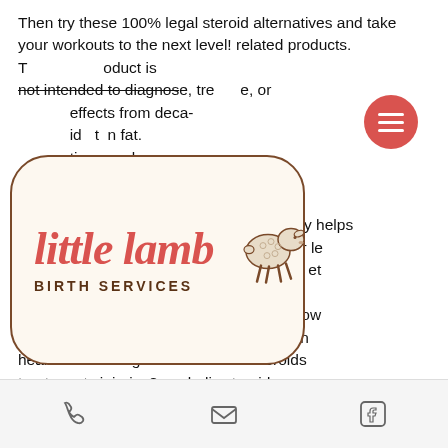Then try these 100% legal steroid alternatives and take your workouts to the next level! related products. This product is not intended to diagnose, treat, cure, or ...effects from deca- ...id to burn fat. ...ting muscle ...se... to help ...e m... heal injuries. when you go the wrong, npp really helps with that, too. Le clomid permet de rétablir le taux normal de testostérone apres la cure et empêche l'oestrogène présente dans le corps d'agir et permet ainsi d'éviter les. How effective are anabolic steroid treatments in healthcare settings? can anabolic steroids treat sports injuries? anabolic steroids can have. Une fois prouvée notre confiance, on se faisait envoyer des colis à domicile. » ma
[Figure (logo): Little Lamb Birth Services logo — cursive red script 'little lamb' with a small lamb illustration, inside a rounded rectangle border on cream background]
[Figure (illustration): Red circle menu button with three horizontal white lines (hamburger menu icon)]
Phone, Email, Facebook icons in bottom toolbar